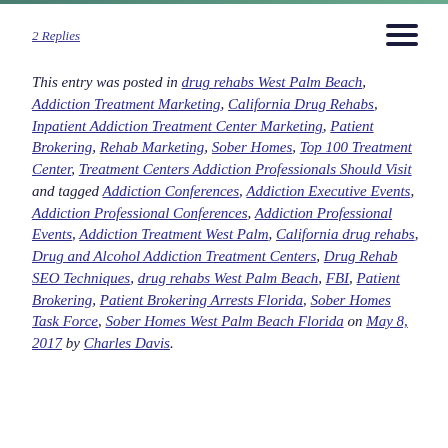2 Replies
This entry was posted in drug rehabs West Palm Beach, Addiction Treatment Marketing, California Drug Rehabs, Inpatient Addiction Treatment Center Marketing, Patient Brokering, Rehab Marketing, Sober Homes, Top 100 Treatment Center, Treatment Centers Addiction Professionals Should Visit and tagged Addiction Conferences, Addiction Executive Events, Addiction Professional Conferences, Addiction Professional Events, Addiction Treatment West Palm, California drug rehabs, Drug and Alcohol Addiction Treatment Centers, Drug Rehab SEO Techniques, drug rehabs West Palm Beach, FBI, Patient Brokering, Patient Brokering Arrests Florida, Sober Homes Task Force, Sober Homes West Palm Beach Florida on May 8, 2017 by Charles Davis.